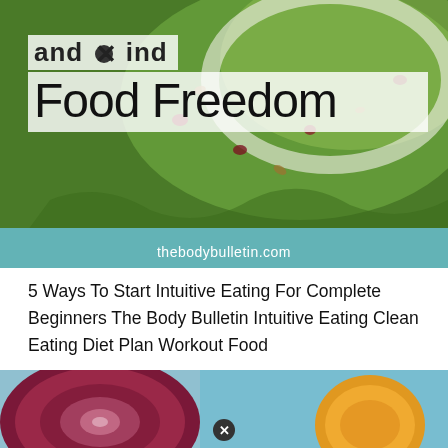[Figure (photo): Photo of a green salad in a white bowl with cranberries and nuts, overlaid with semi-transparent text boxes showing title 'and find Food Freedom' and website URL thebodybulletin.com at bottom]
5 Ways To Start Intuitive Eating For Complete Beginners The Body Bulletin Intuitive Eating Clean Eating Diet Plan Workout Food
[Figure (photo): Photo showing a halved red cabbage on the left and what appears to be an orange or citrus fruit on a blue background on the right, with a close/remove icon overlay]